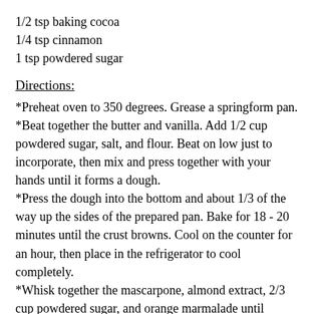1/2 tsp baking cocoa
1/4 tsp cinnamon
1 tsp powdered sugar
Directions:
*Preheat oven to 350 degrees. Grease a springform pan.
*Beat together the butter and vanilla. Add 1/2 cup powdered sugar, salt, and flour. Beat on low just to incorporate, then mix and press together with your hands until it forms a dough.
*Press the dough into the bottom and about 1/3 of the way up the sides of the prepared pan. Bake for 18 - 20 minutes until the crust browns. Cool on the counter for an hour, then place in the refrigerator to cool completely.
*Whisk together the mascarpone, almond extract, 2/3 cup powdered sugar, and orange marmalade until smooth. Mix in the mini chocolate chips and pour into the cooled pie shell. Refrigerate for 1 hour.
*Mix together the baking cocoa, cinnamon, and the